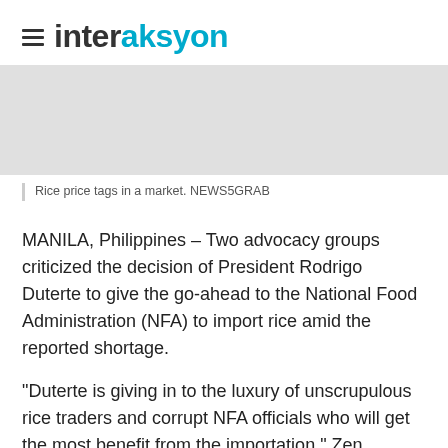interaksyon
[Figure (photo): Rice price tags in a market (placeholder/grey image area)]
Rice price tags in a market. NEWS5GRAB
MANILA, Philippines – Two advocacy groups criticized the decision of President Rodrigo Duterte to give the go-ahead to the National Food Administration (NFA) to import rice amid the reported shortage.
"Duterte is giving in to the luxury of unscrupulous rice traders and corrupt NFA officials who will get the most benefit from the importation," Zen Soriano, head of the National Federation of Peasant Women (Amihan) said.